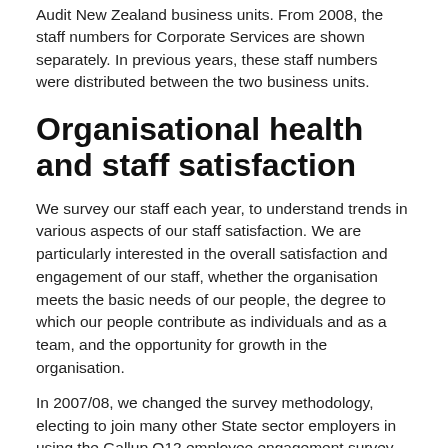Audit New Zealand business units. From 2008, the staff numbers for Corporate Services are shown separately. In previous years, these staff numbers were distributed between the two business units.
Organisational health and staff satisfaction
We survey our staff each year, to understand trends in various aspects of our staff satisfaction. We are particularly interested in the overall satisfaction and engagement of our staff, whether the organisation meets the basic needs of our people, the degree to which our people contribute as individuals and as a team, and the opportunity for growth in the organisation.
In 2007/08, we changed the survey methodology, electing to join many other State sector employers in using the Gallup Q12 employee engagement survey. The change in survey means that it is difficult to compare this year's results with those of previous years, the only common